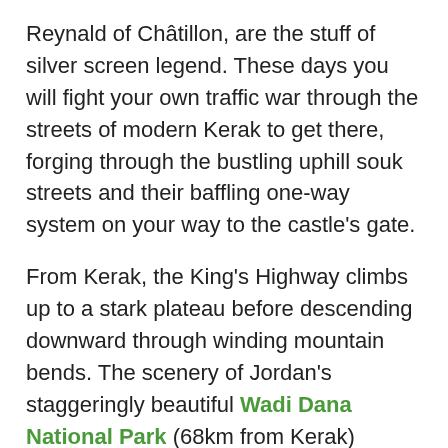Reynald of Châtillon, are the stuff of silver screen legend. These days you will fight your own traffic war through the streets of modern Kerak to get there, forging through the bustling uphill souk streets and their baffling one-way system on your way to the castle's gate.
From Kerak, the King's Highway climbs up to a stark plateau before descending downward through winding mountain bends. The scenery of Jordan's staggeringly beautiful Wadi Dana National Park (68km from Kerak) provides a nature break from the history lessons along the road. This nature reserve swoops 1,200m down through a semi-arid landscape of serrated sandstone cliffs to finish in a plateau of green palms and desert. Spending a night or two here at the Dana Guest House rewards trekkers with regular sightings of buzzards and eagles sweeping across the sky, and the rare luxury of empty trails where the silence is only broken by an occasional Arcadian meeting with a flute-playing shepherd.